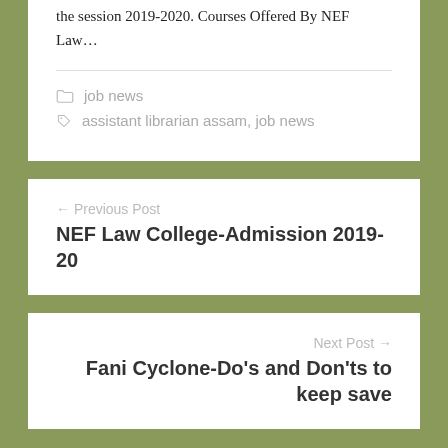the session 2019-2020. Courses Offered By NEF Law…
job news
assistant librarian assam, job news
← Previous Post
NEF Law College-Admission 2019-20
Next Post →
Fani Cyclone-Do's and Don'ts to keep save